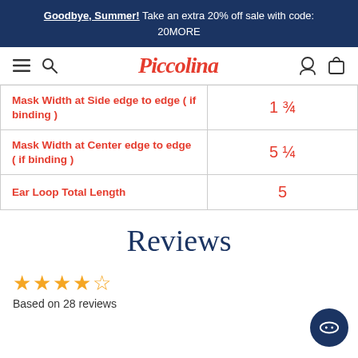Goodbye, Summer! Take an extra 20% off sale with code: 20MORE
[Figure (logo): Piccolina script logo with hamburger menu, search, user, and cart icons]
| Attribute | Value |
| --- | --- |
| Mask Width at Side edge to edge ( if binding ) | 1 3/4 |
| Mask Width at Center edge to edge ( if binding ) | 5 1/4 |
| Ear Loop Total Length | 5 |
Reviews
Based on 28 reviews